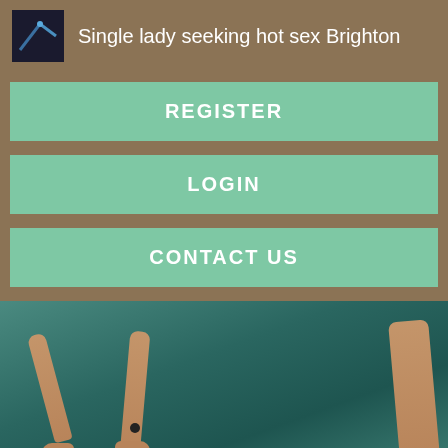Single lady seeking hot sex Brighton
REGISTER
LOGIN
CONTACT US
[Figure (photo): Photo of a person's arms and legs on a teal/green floor surface]
I love cooking, baking, swimming, working out, singing, dancing,